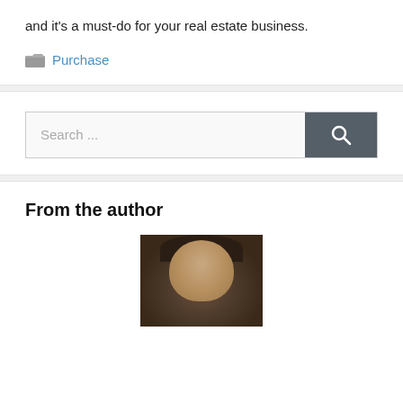and it's a must-do for your real estate business.
Purchase
[Figure (screenshot): Search bar with placeholder text 'Search ...' and a dark grey search button with magnifying glass icon]
From the author
[Figure (photo): Headshot of a man with dark hair against a dark background]